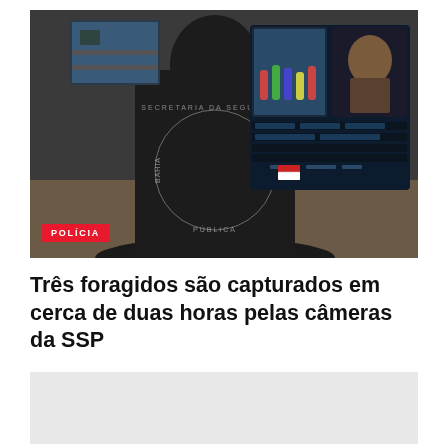[Figure (photo): A person wearing a dark jacket with 'SECRETARIA DA SEGURANÇA PÚBLICA BAHIA' text on the back, facing surveillance monitors showing crowd footage and a suspect mugshot. A red 'POLÍCIA' badge overlay is in the bottom-left corner.]
Três foragidos são capturados em cerca de duas horas pelas câmeras da SSP
[Figure (photo): Partial view of a second image, mostly light grey/white, partially cut off at the bottom of the page.]